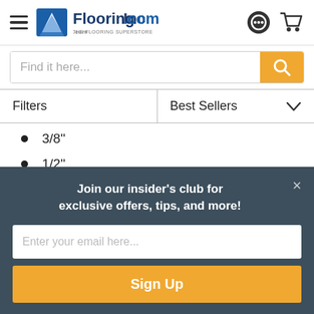[Figure (logo): FlooringInc.com logo with hamburger menu icon on the left and shopping cart and chat icons on the right]
[Figure (screenshot): Search bar with placeholder text 'Find it here...' and orange search button]
[Figure (screenshot): Filter and Best Sellers sort buttons]
3/8"
1/2"
5/8"
3/4"
2"
Join our insider's club for exclusive offers, tips, and more!
Enter your email here...
Sign Up